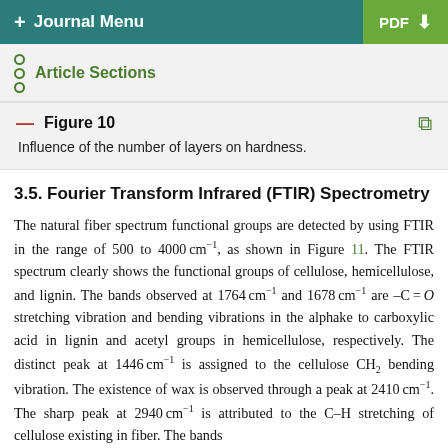+ Journal Menu  PDF ↓
Article Sections
Figure 10
Influence of the number of layers on hardness.
3.5. Fourier Transform Infrared (FTIR) Spectrometry
The natural fiber spectrum functional groups are detected by using FTIR in the range of 500 to 4000 cm−1, as shown in Figure 11. The FTIR spectrum clearly shows the functional groups of cellulose, hemicellulose, and lignin. The bands observed at 1764 cm−1 and 1678 cm−1 are –C = O stretching vibration and bending vibrations in the alphake to carboxylic acid in lignin and acetyl groups in hemicellulose, respectively. The distinct peak at 1446 cm−1 is assigned to the cellulose CH2 bending vibration. The existence of wax is observed through a peak at 2410 cm−1. The sharp peak at 2940 cm−1 is attributed to the C–H stretching of cellulose existing in fiber. The bands